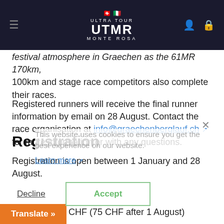ULTRA TOUR UTMR MONTE ROSA
festival atmosphere in Graechen as the 61MR 170km, 100km and stage race competitors also complete their races.
Registered runners will receive the final runner information by email on 28 August. Contact the race organisation at info@graechenberglauf.ch for more information or with any questions.
This website uses cookies to ensure you get the best experience on our website.
Learn more
Registration
Registration is open between 1 January and 28 August.
Entry fee: 65 CHF (75 CHF after 1 August)